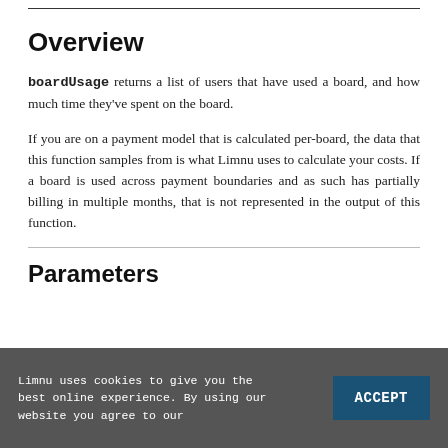Overview
boardUsage returns a list of users that have used a board, and how much time they've spent on the board.
If you are on a payment model that is calculated per-board, the data that this function samples from is what Limnu uses to calculate your costs. If a board is used across payment boundaries and as such has partially billing in multiple months, that is not represented in the output of this function.
Parameters
Limnu uses cookies to give you the best online experience. By using our website you agree to our